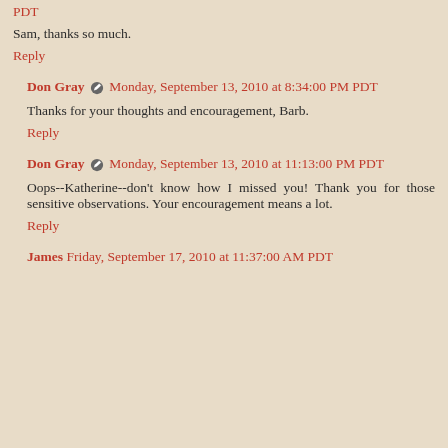PDT
Sam, thanks so much.
Reply
Don Gray · Monday, September 13, 2010 at 8:34:00 PM PDT
Thanks for your thoughts and encouragement, Barb.
Reply
Don Gray · Monday, September 13, 2010 at 11:13:00 PM PDT
Oops--Katherine--don't know how I missed you! Thank you for those sensitive observations. Your encouragement means a lot.
Reply
James  Friday, September 17, 2010 at 11:37:00 AM PDT